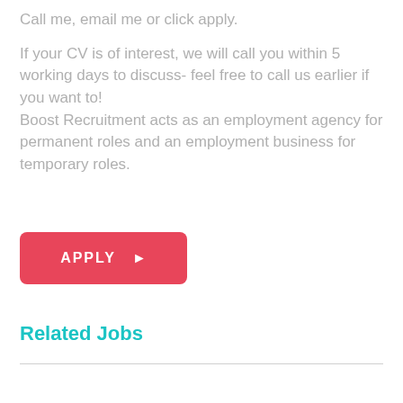Call me, email me or click apply.
If your CV is of interest, we will call you within 5 working days to discuss- feel free to call us earlier if you want to!
Boost Recruitment acts as an employment agency for permanent roles and an employment business for temporary roles.
APPLY ▶
Related Jobs